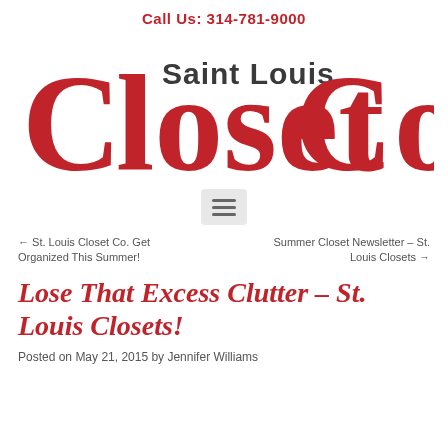Call Us: 314-781-9000
[Figure (logo): Saint Louis Closet Co. logo with large red serif letters]
[Figure (other): Hamburger menu button icon]
← St. Louis Closet Co. Get Organized This Summer!
Summer Closet Newsletter – St. Louis Closets →
Lose That Excess Clutter – St. Louis Closets!
Posted on May 21, 2015 by Jennifer Williams